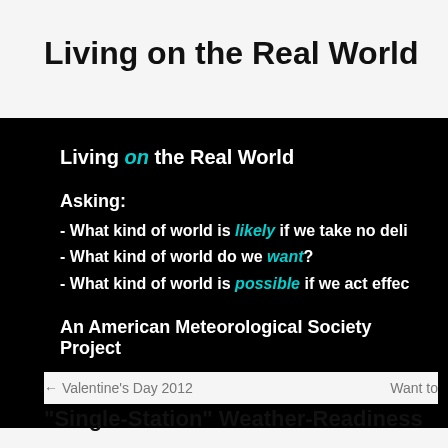Living on the Real World
[Figure (screenshot): Black banner image for 'Living on the Real World' American Meteorological Society Project showing: title 'Living on the Real World', 'Asking:' followed by three bullet points about likely/want/possible worlds, 'An American Meteorological Society Project', and Home/About navigation links.]
← Valentine's Day 2012    Want to
“Single-Station” Weather-Readiness